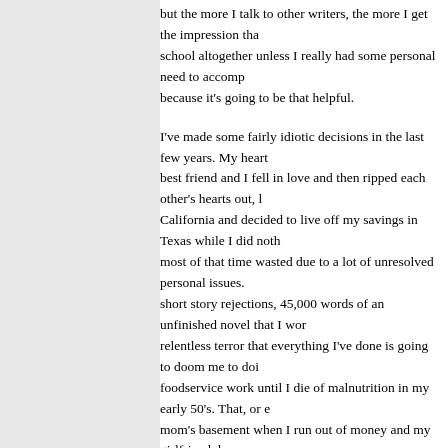but the more I talk to other writers, the more I get the impression that school altogether unless I really had some personal need to accomp... because it's going to be that helpful.
I've made some fairly idiotic decisions in the last few years. My heart... best friend and I fell in love and then ripped each other's hearts out, left California and decided to live off my savings in Texas while I did noth... most of that time wasted due to a lot of unresolved personal issues. short story rejections, 45,000 words of an unfinished novel that I wor... relentless terror that everything I've done is going to doom me to doi... foodservice work until I die of malnutrition in my early 50's. That, or e... mom's basement when I run out of money and my girlfriend dumps m...
Stuff like this terrifies me. MFA or not? Hell, I'd love the chance to sin... there's no way I could afford it if I wanted to. What I'd ask of you guys do is somehow manage to eventually write fiction for a living, should... Part of my thinking was that maybe I could start doing some freelanc... fun or interesting, would at least be writing for pay, since nearly all fre... seem to want at least a BA in something writing or English-related. I'... education in English literature. But is it really worth it? Should I just s... write unceasingly for as long as possible until I'm forced to go back t...
Granted, doing what I did probably wasn't smart. Logic wasn't part of a building and decided that any desperate choice was better than sta... couldn't manage. So I gave up and went for a dream. Looking back, idiot, but at the same time, I feel like my writing has improved by lea...